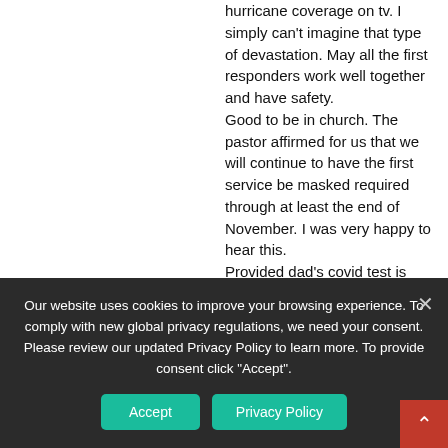hurricane coverage on tv. I simply can't imagine that type of devastation. May all the first responders work well together and have safety. Good to be in church. The pastor affirmed for us that we will continue to have the first service be masked required through at least the end of November. I was very happy to hear this. Provided dad's covid test is confirmed false tomorrow, he plans on coming over for dinner. I will pick up some favorites from a BBQ place by my school. He is hoping to golf in the morning, provided he feels well and it is not
Our website uses cookies to improve your browsing experience. To comply with new global privacy regulations, we need your consent. Please review our updated Privacy Policy to learn more. To provide consent click "Accept".